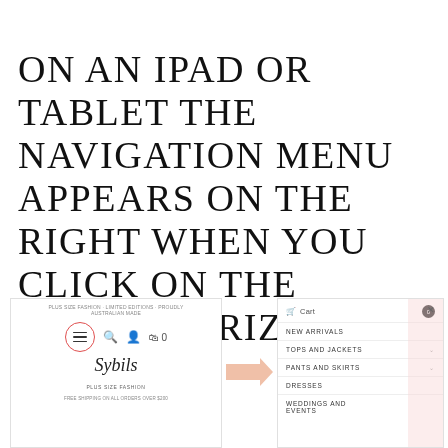ON AN IPAD OR TABLET THE NAVIGATION MENU APPEARS ON THE RIGHT WHEN YOU CLICK ON THE THREE HORIZONTAL LINES:
[Figure (screenshot): Two-panel screenshot showing a tablet website view. Left panel shows the Sybil Plus Size Fashion website header with a hamburger menu icon circled in red, search, user, and bag icons, the brand logo, and free shipping text. An arrow points right to the navigation menu panel on the right, which shows Cart, NEW ARRIVALS, TOPS AND JACKETS, PANTS AND SKIRTS, DRESSES, and WEDDINGS AND EVENTS menu items, with a close X button.]